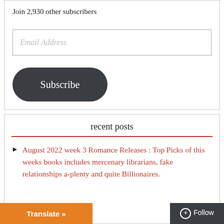Join 2,930 other subscribers
Email Address
Subscribe
recent posts
August 2022 week 3 Romance Releases : Top Picks of this weeks books includes mercenary librarians, fake relationships a-plenty and quite Billionaires.
Translate »
Follow